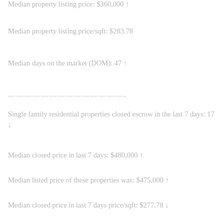Median property listing price: $360,000 ↑
Median property listing price/sqft: $283.78
Median days on the market (DOM): 47 ↑
——————————————-
Single family residential properties closed escrow in the last 7 days: 17 ↓
Median closed price in last 7 days: $480,000 ↑
Median listed price of these properties was: $475,000 ↑
Median closed price in last 7 days price/sqft: $277.78 ↓